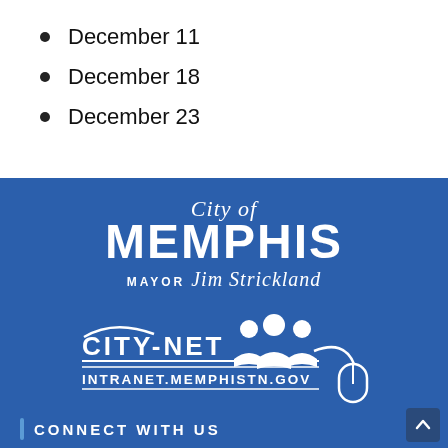December 11
December 18
December 23
[Figure (logo): City of Memphis logo with Mayor Jim Strickland text]
[Figure (logo): CITY-NET intranet logo with INTRANET.MEMPHISTN.GOV and computer mouse graphic]
CONNECT WITH US